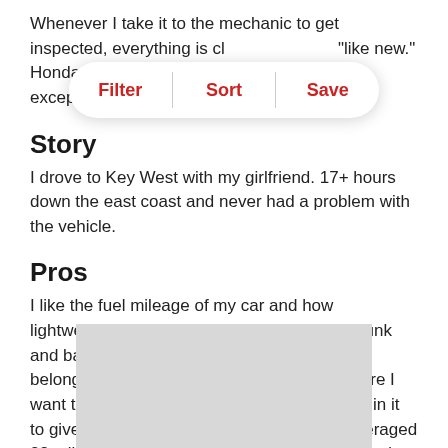Whenever I take it to the mechanic to get inspected, everything is cl… 'like new.' Honda Civics a… car is no exception. I highly recommend it.
[Figure (screenshot): A toolbar overlay with three buttons: Filter, Sort, Save — white pill-shaped with red bold text and dividers.]
Story
I drove to Key West with my girlfriend. 17+ hours down the east coast and never had a problem with the vehicle.
Pros
I like the fuel mileage of my car and how lightweight it is. It has enough space in the trunk and backseat to allow me to haul most of my belongings. It can take me just about anywhere I want to go. I moved across the United States in it to give testament to its storage capacity. I averaged 38 miles a gallon over the Rocky Mountains and other
[Figure (other): A gray rectangle placeholder/advertisement block at the bottom of the page.]